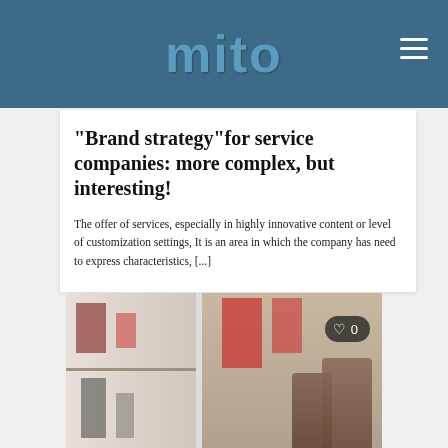mito
“Brand strategy”for service companies: more complex, but interesting!
The offer of services, especially in highly innovative content or level of customization settings, It is an area in which the company has need to express characteristics, [...]
[Figure (photo): Interior of a retail or hotel space showing shelves with products on the left, red accent columns in the center, and two people at a counter or desk on the right side. A heart/like button overlay showing 0 likes is visible in the top-right corner of the image.]